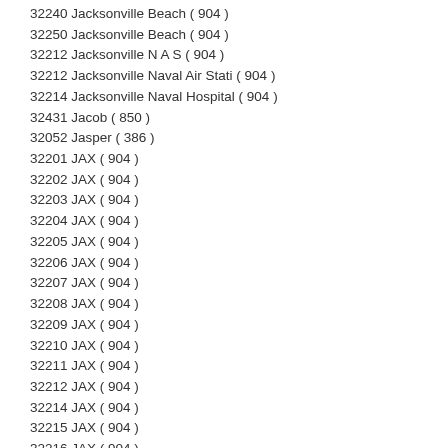32240 Jacksonville Beach ( 904 )
32250 Jacksonville Beach ( 904 )
32212 Jacksonville N A S ( 904 )
32212 Jacksonville Naval Air Stati ( 904 )
32214 Jacksonville Naval Hospital ( 904 )
32431 Jacob ( 850 )
32052 Jasper ( 386 )
32201 JAX ( 904 )
32202 JAX ( 904 )
32203 JAX ( 904 )
32204 JAX ( 904 )
32205 JAX ( 904 )
32206 JAX ( 904 )
32207 JAX ( 904 )
32208 JAX ( 904 )
32209 JAX ( 904 )
32210 JAX ( 904 )
32211 JAX ( 904 )
32212 JAX ( 904 )
32214 JAX ( 904 )
32215 JAX ( 904 )
32216 JAX ( 904 )
32217 JAX ( 904 )
32218 JAX ( 904 )
32219 JAX ( 904 )
32220 JAX ( 904 )
32221 JAX ( 904 )